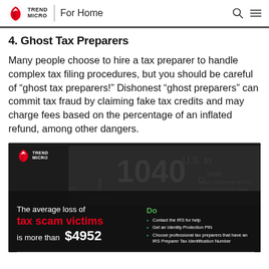Trend Micro | For Home
4. Ghost Tax Preparers
Many people choose to hire a tax preparer to handle complex tax filing procedures, but you should be careful of “ghost tax preparers!” Dishonest “ghost preparers” can commit tax fraud by claiming fake tax credits and may charge fees based on the percentage of an inflated refund, among other dangers.
[Figure (infographic): Trend Micro infographic showing a blurred IRS 1040 tax form background. Left side states: 'The average loss of tax scam victims is more than $4952'. Right side shows a 'Do' section with green checkmarks listing: Contact the IRS for help, Get an Identity Protection PIN, Choose professional tax preparers that have an IRS Preparer Tax Identification Number.]